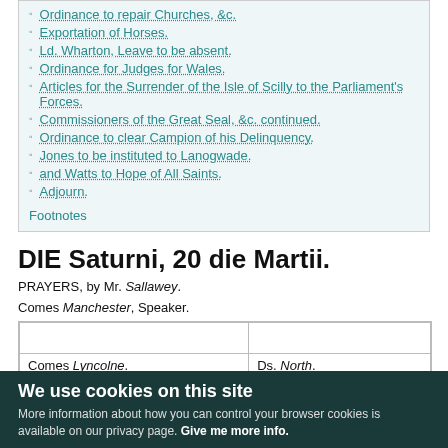Ordinance to repair Churches, &c.
Exportation of Horses.
Ld. Wharton, Leave to be absent.
Ordinance for Judges for Wales.
Articles for the Surrender of the Isle of Scilly to the Parliament's Forces.
Commissioners of the Great Seal, &c. continued.
Ordinance to clear Campion of his Delinquency.
Jones to be instituted to Lanogwade.
and Watts to Hope of All Saints.
Adjourn.
Footnotes
DIE Saturni, 20 die Martii.
PRAYERS, by Mr. Sallawey.
Comes Manchester, Speaker.
|  |  |
| --- | --- |
| Comes Lyncolne.
Comes Mulgrave.
Comes Midd... | Ds. North.
Ds. Maynard.
Ds. Wilm... |
We use cookies on this site
More information about how you can control your browser cookies is available on our privacy page. Give me more info.